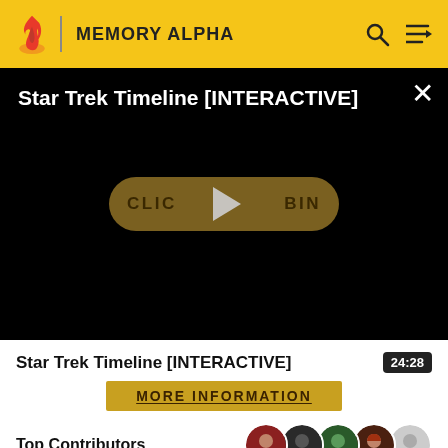MEMORY ALPHA
[Figure (screenshot): Video player showing Star Trek Timeline [INTERACTIVE] with a black background, play button overlay, and a 'CLICK TO BEGIN' button in the center]
Star Trek Trek Timeline [INTERACTIVE]
24:28
MORE INFORMATION
Top Contributors
Categories